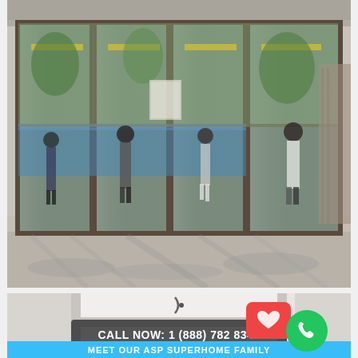[Figure (photo): Photo of large glass folding/sliding doors with dark bronze frames viewed from inside, reflecting a pool area with several people walking outside. Construction/installation scene with trees visible through the glass.]
[Figure (photo): Partial photo of what appears to be a white door or window frame, partially visible at the bottom of the page. Overlaid with a call-to-action banner 'CALL NOW: 1 (888) 782 8342', a green phone button, a red heart notification icon, and a cyan banner reading 'MEET OUR ASP SUPERHOME FAMILY'.]
CALL NOW: 1 (888) 782 8342
MEET OUR ASP SUPERHOME FAMILY